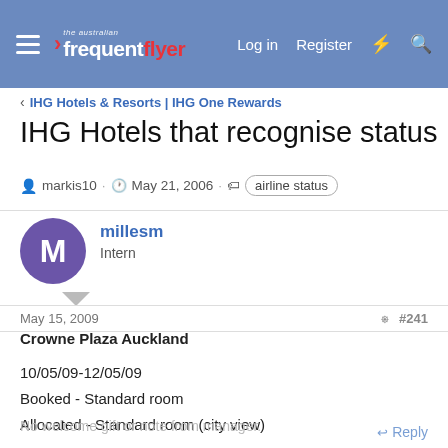the australian frequent flyer — Log in  Register
< IHG Hotels & Resorts | IHG One Rewards
IHG Hotels that recognise status
markis10 · May 21, 2006 · airline status
millesm
Intern
May 15, 2009  #241
Crowne Plaza Auckland

10/05/09-12/05/09
Booked - Standard room
Allocated - Standard room (city view)
No welcome gift or note from manager.
Reply